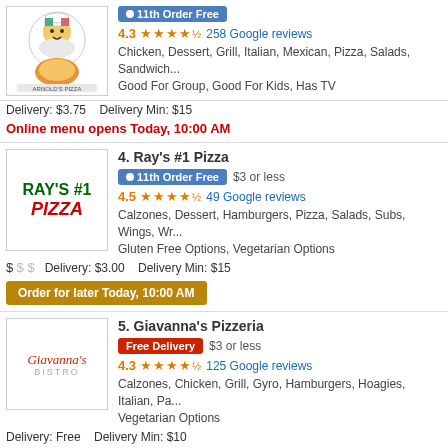[Figure (logo): Pizza restaurant logo with chef character]
11th Order Free
4.3 ★★★★½ 258 Google reviews
Chicken, Dessert, Grill, Italian, Mexican, Pizza, Salads, Sandwich... Good For Group, Good For Kids, Has TV
Delivery: $3.75   Delivery Min: $15
Online menu opens Today, 10:00 AM
4. Ray's #1 Pizza
[Figure (logo): Ray's #1 Pizza logo in green and red]
11th Order Free  $3 or less
4.5 ★★★★½ 49 Google reviews
Calzones, Dessert, Hamburgers, Pizza, Salads, Subs, Wings, Wr... Gluten Free Options, Vegetarian Options
$ $$ Delivery: $3.00   Delivery Min: $15
Order for later Today, 10:00 AM
5. Giavanna's Pizzeria
[Figure (logo): Giavanna's Pizzeria logo in red italic]
Free Delivery  $3 or less
4.3 ★★★★½ 125 Google reviews
Calzones, Chicken, Grill, Gyro, Hamburgers, Hoagies, Italian, Pa... Vegetarian Options
Delivery: Free   Delivery Min: $10
Order for later Today, 10:30 AM
6. Nino's Italian Restaurant